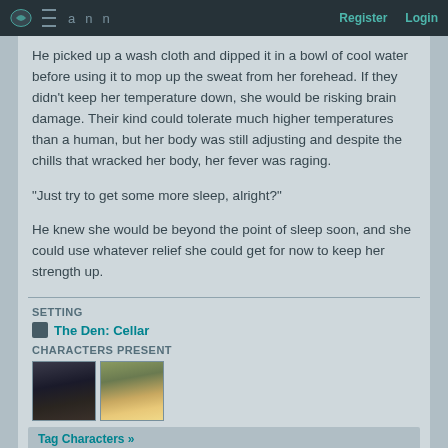Register  Login
He picked up a wash cloth and dipped it in a bowl of cool water before using it to mop up the sweat from her forehead. If they didn't keep her temperature down, she would be risking brain damage. Their kind could tolerate much higher temperatures than a human, but her body was still adjusting and despite the chills that wracked her body, her fever was raging.
"Just try to get some more sleep, alright?"
He knew she would be beyond the point of sleep soon, and she could use whatever relief she could get for now to keep her strength up.
SETTING
The Den: Cellar
CHARACTERS PRESENT
[Figure (photo): Two character portrait thumbnails side by side]
Tag Characters »
Add to Arc »